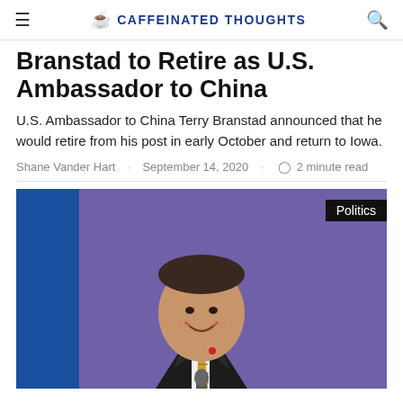CAFFEINATED THOUGHTS
Branstad to Retire as U.S. Ambassador to China
U.S. Ambassador to China Terry Branstad announced that he would retire from his post in early October and return to Iowa.
Shane Vander Hart · September 14, 2020 · 2 minute read
[Figure (photo): Man in dark suit with gold striped tie smiling at a podium, purple background, with a Politics badge overlay in the top right corner.]